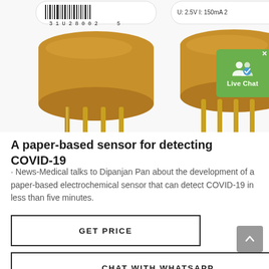[Figure (photo): Two gold-pin electronic sensor components shown from below against a white background. Left sensor shows barcode label '31U28002', right sensor shows label 'U: 2.5V I: 150mA'. Both have gold metal pins extending downward. A green 'Live Chat' badge is overlaid in the top-right corner.]
A paper-based sensor for detecting COVID-19
· News-Medical talks to Dipanjan Pan about the development of a paper-based electrochemical sensor that can detect COVID-19 in less than five minutes.
GET PRICE
CHAT WITH WHATSAPP